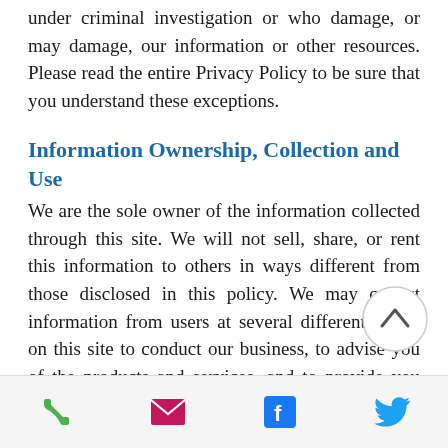under criminal investigation or who damage, or may damage, our information or other resources. Please read the entire Privacy Policy to be sure that you understand these exceptions.
Information Ownership, Collection and Use
We are the sole owner of the information collected through this site. We will not sell, share, or rent this information to others in ways different from those disclosed in this policy. We may collect information from users at several different points on this site to conduct our business, to advise you of the products and services, and to provide you with customer service. This Privacy Policy addresses some types of information, means of collecting information, and uses of information that...